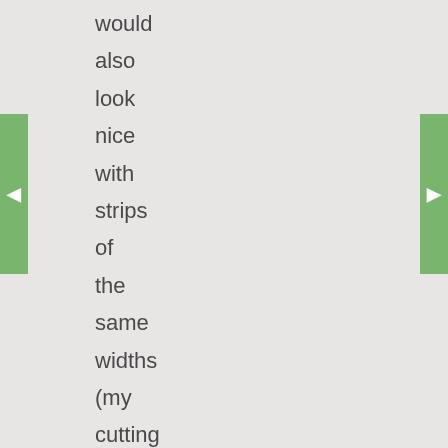would also look nice with strips of the same widths (my cutting skills – not that good!). I cut half of